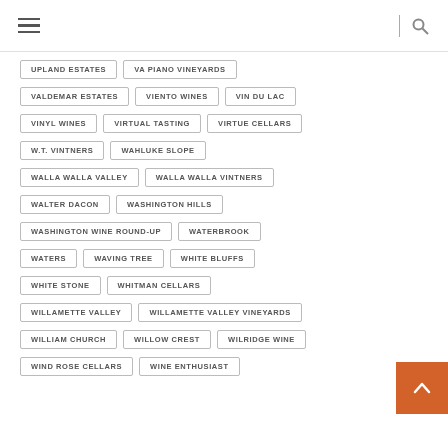Navigation header with hamburger menu and search icon
UPLAND ESTATES
VA PIANO VINEYARDS
VALDEMAR ESTATES
VIENTO WINES
VIN DU LAC
VINYL WINES
VIRTUAL TASTING
VIRTUE CELLARS
W.T. VINTNERS
WAHLUKE SLOPE
WALLA WALLA VALLEY
WALLA WALLA VINTNERS
WALTER DACON
WASHINGTON HILLS
WASHINGTON WINE ROUND-UP
WATERBROOK
WATERS
WAVING TREE
WHITE BLUFFS
WHITE STONE
WHITMAN CELLARS
WILLAMETTE VALLEY
WILLAMETTE VALLEY VINEYARDS
WILLIAM CHURCH
WILLOW CREST
WILRIDGE WINE
WIND ROSE CELLARS
WINE ENTHUSIAST